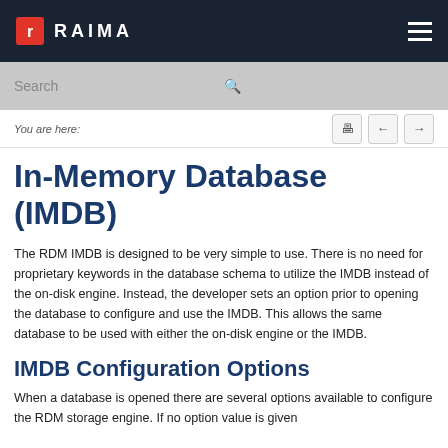RAIMA
In-Memory Database (IMDB)
The RDM IMDB is designed to be very simple to use. There is no need for proprietary keywords in the database schema to utilize the IMDB instead of the on-disk engine. Instead, the developer sets an option prior to opening the database to configure and use the IMDB. This allows the same database to be used with either the on-disk engine or the IMDB.
IMDB Configuration Options
When a database is opened there are several options available to configure the RDM storage engine. If no option value is given